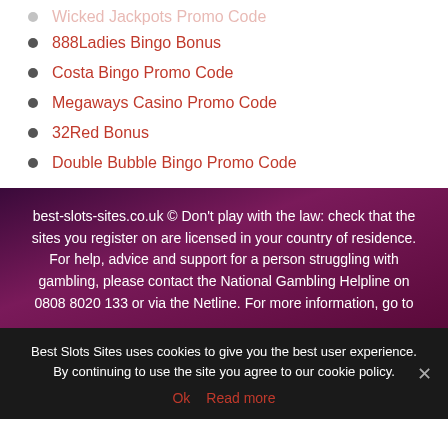Wicked Jackpots Promo Code
888Ladies Bingo Bonus
Costa Bingo Promo Code
Megaways Casino Promo Code
32Red Bonus
Double Bubble Bingo Promo Code
best-slots-sites.co.uk © Don't play with the law: check that the sites you register on are licensed in your country of residence. For help, advice and support for a person struggling with gambling, please contact the National Gambling Helpline on 0808 8020 133 or via the Netline. For more information, go to
Best Slots Sites uses cookies to give you the best user experience. By continuing to use the site you agree to our cookie policy.
Ok   Read more